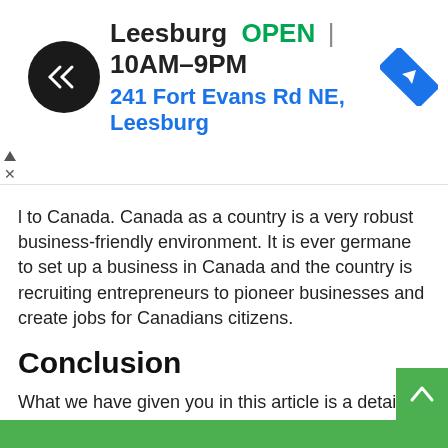[Figure (infographic): Ad banner showing Leesburg store location: logo (dark circle with arrows), store name 'Leesburg', 'OPEN' in green, hours '10AM-9PM', address '241 Fort Evans Rd NE, Leesburg' in blue, and a blue navigation diamond icon. Small ad control symbols on the left.]
l to Canada. Canada as a country is a very robust business-friendly environment. It is ever germane to set up a business in Canada and the country is recruiting entrepreneurs to pioneer businesses and create jobs for Canadians citizens.
Conclusion
What we have given you in this article is a detailed and comprehensive roadmap for easy migration to Canada. If you read, understand and follow the information well, you will succeed in your ambition to immigrate to Canada.
Read more about Overseas travel and study abroad at SureSuccessNG